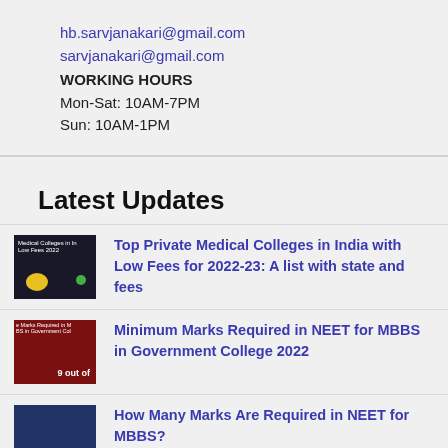hb.sarvjanakari@gmail.com
sarvjanakari@gmail.com
WORKING HOURS
Mon-Sat: 10AM-7PM
Sun: 10AM-1PM
Latest Updates
[Figure (photo): Thumbnail image for article about top private medical colleges in India with low fees]
Top Private Medical Colleges in India with Low Fees for 2022-23: A list with state and fees
[Figure (photo): Thumbnail image for article about minimum marks required in NEET for MBBS in Government College]
Minimum Marks Required in NEET for MBBS in Government College 2022
[Figure (photo): Thumbnail image for article about how many marks are required in NEET for MBBS]
How Many Marks Are Required in NEET for MBBS?